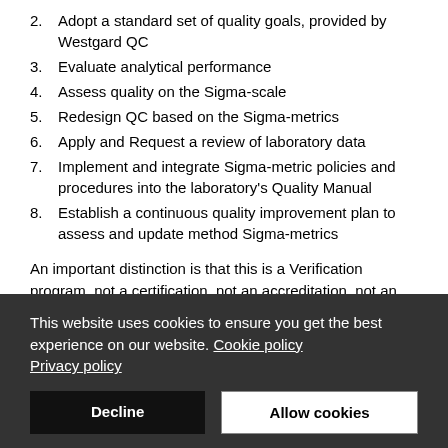2. Adopt a standard set of quality goals, provided by Westgard QC
3. Evaluate analytical performance
4. Assess quality on the Sigma-scale
5. Redesign QC based on the Sigma-metrics
6. Apply and Request a review of laboratory data
7. Implement and integrate Sigma-metric policies and procedures into the laboratory's Quality Manual
8. Establish a continuous quality improvement plan to assess and update method Sigma-metrics
An important distinction is that this is a Verification program, not a certification, not an accreditation, not an award. This is not going to reward past behavior - it's about verifying and proving that your current method performance is appropriate for patient care, and assuring that a system and staff are in
This website uses cookies to ensure you get the best experience on our website. Cookie policy Privacy policy
Decline
Allow cookies